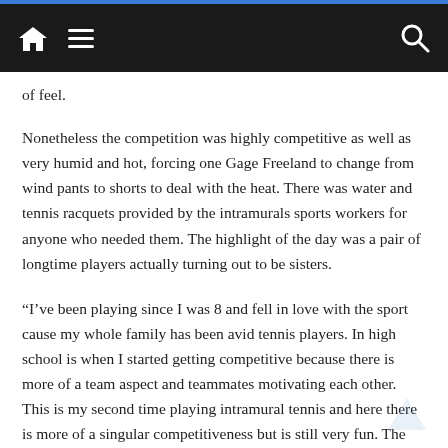Navigation bar with home, menu, and search icons
of feel.
Nonetheless the competition was highly competitive as well as very humid and hot, forcing one Gage Freeland to change from wind pants to shorts to deal with the heat. There was water and tennis racquets provided by the intramurals sports workers for anyone who needed them. The highlight of the day was a pair of longtime players actually turning out to be sisters.
“I’ve been playing since I was 8 and fell in love with the sport cause my whole family has been avid tennis players. In high school is when I started getting competitive because there is more of a team aspect and teammates motivating each other. This is my second time playing intramural tennis and here there is more of a singular competitiveness but is still very fun. The fact that I can play this sport for several decades is the difference compared to other sports that I appreciate. In